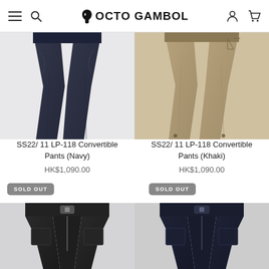OCTO GAMBOL
[Figure (photo): Navy convertible cargo pants, top view cropped]
SS22/ 11 LP-118 Convertible Pants (Navy)
HK$1,090.00
[Figure (photo): Khaki convertible cargo pants, top view cropped]
SS22/ 11 LP-118 Convertible Pants (Khaki)
HK$1,090.00
SOLD OUT
[Figure (photo): Black cargo shorts/pants, front view, sold out]
SOLD OUT
[Figure (photo): Dark navy cargo shorts/pants, front view, sold out]